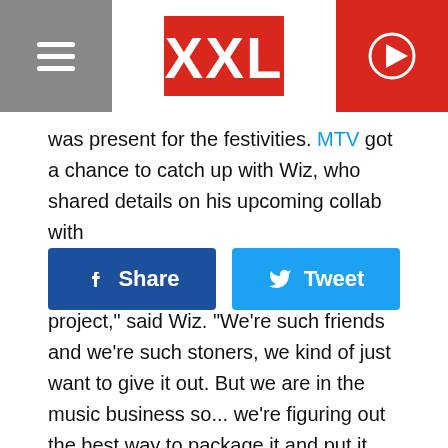XXL
was present for the festivities. MTV got a chance to catch up with Wiz, who shared details on his upcoming collab with
Share | Tweet
project," said Wiz. "We're such friends and we're such stoners, we kind of just want to give it out. But we are in the music business so... we're figuring out the best way to package it and put it together. But, the music is there. We always gon be recording and putting stuff out. We're just putting the plan together, really. I wanna have the best plan of action so it comes off correctly."